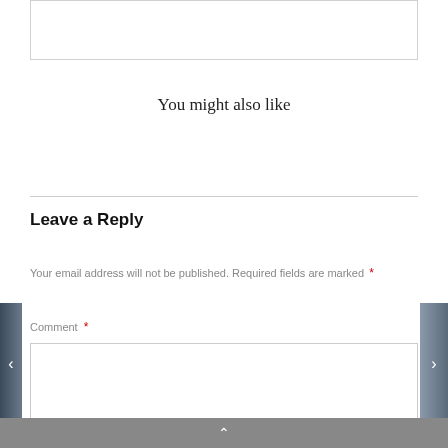You might also like
Leave a Reply
Your email address will not be published. Required fields are marked *
Comment *